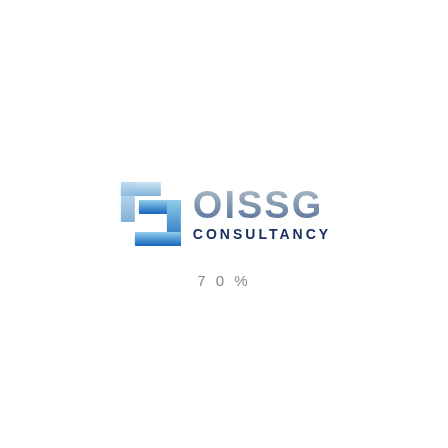[Figure (logo): OISSG Consultancy logo with stylized blue bracket/S-shape icon and gradient text]
70%